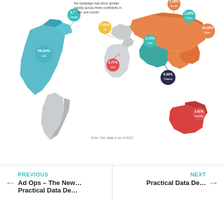[Figure (map): Low-poly world map infographic showing campaign spread across three continents. Highlighted regions include North America (blue/teal, 56.04% USA, 3.1% Canada), Europe (grey, with 2.91% UK, 2.77% Germany), Asia (orange, with 3.16% Russia, 1.24% China, 10.18% Japan, 1.72% India, 6.63% Thailand), and Australia (red, 1.81%). Note: this data is as of 4/22.]
the campaign has since spread rapidly across three continents in under one month:
Note: this data is as of 4/22
PREVIOUS
Ad Ops – The New… Practical Data De…
NEXT